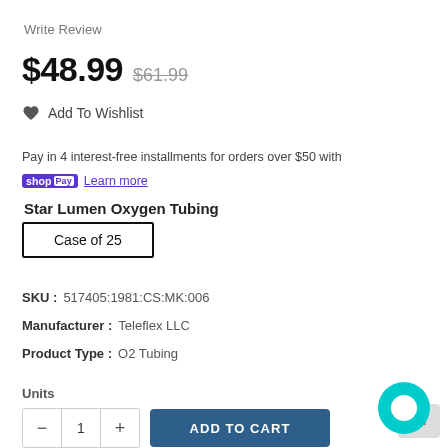Write Review
$48.99  $61.99
♥ Add To Wishlist
Pay in 4 interest-free installments for orders over $50 with
shop Pay  Learn more
Star Lumen Oxygen Tubing
Case of 25
SKU :   517405:1981:CS:MK:006
Manufacturer :   Teleflex LLC
Product Type :   O2 Tubing
Units
- 1 +  ADD TO CART